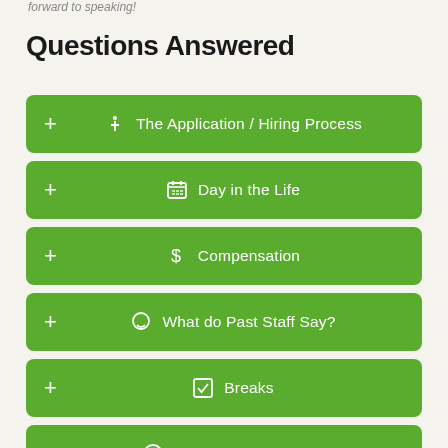forward to speaking!
Questions Answered
+ The Application / Hiring Process
+ Day in the Life
+ Compensation
+ What do Past Staff Say?
+ Breaks
+ Our Unique Campers